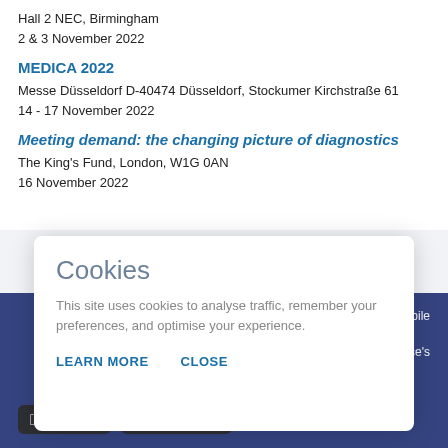Hall 2 NEC, Birmingham
2 & 3 November 2022
MEDICA 2022
Messe Düsseldorf D-40474 Düsseldorf, Stockumer Kirchstraße 61
14 - 17 November 2022
Meeting demand: the changing picture of diagnostics
The King's Fund, London, W1G 0AN
16 November 2022
[Figure (screenshot): Cookie consent modal dialog with title 'Cookies', body text about site cookies, and LEARN MORE / CLOSE buttons]
[Figure (screenshot): Dark blue footer with App Store and Google Play store buttons, and partial text 'obile' and 'evice's']